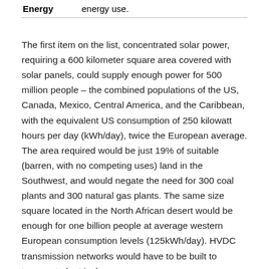Energy    energy use.
The first item on the list, concentrated solar power, requiring a 600 kilometer square area covered with solar panels, could supply enough power for 500 million people – the combined populations of the US, Canada, Mexico, Central America, and the Caribbean, with the equivalent US consumption of 250 kilowatt hours per day (kWh/day), twice the European average. The area required would be just 19% of suitable (barren, with no competing uses) land in the Southwest, and would negate the need for 300 coal plants and 300 natural gas plants. The same size square located in the North African desert would be enough for one billion people at average western European consumption levels (125kWh/day). HVDC transmission networks would have to be built to transport electrical